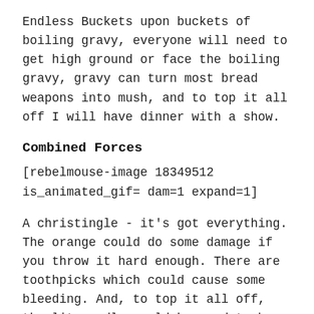Endless Buckets upon buckets of boiling gravy, everyone will need to get high ground or face the boiling gravy, gravy can turn most bread weapons into mush, and to top it all off I will have dinner with a show.
Combined Forces
[rebelmouse-image 18349512 is_animated_gif= dam=1 expand=1]
A christingle - it's got everything. The orange could do some damage if you throw it hard enough. There are toothpicks which could cause some bleeding. And, to top it all off, the lit candle could be used to burn someone.